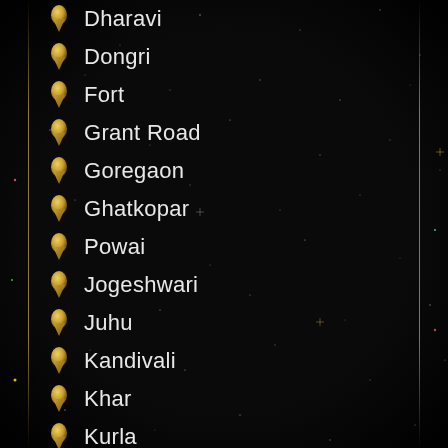Dharavi
Dongri
Fort
Grant Road
Goregaon
Ghatkopar
Powai
Jogeshwari
Juhu
Kandivali
Khar
Kurla